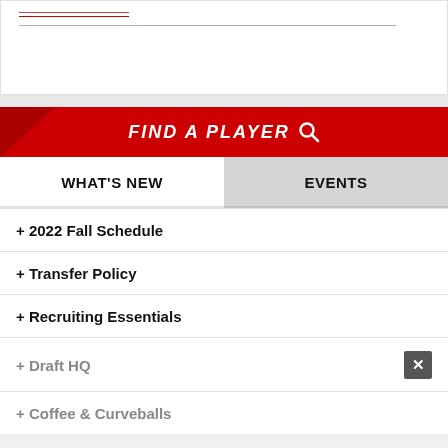[Figure (screenshot): Top portion of a sports website card showing a red hyperlink text partially visible at top, a horizontal divider line, and white space below]
FIND A PLAYER
WHAT'S NEW
EVENTS
+ 2022 Fall Schedule
+ Transfer Policy
+ Recruiting Essentials
+ Draft HQ
+ Coffee & Curveballs